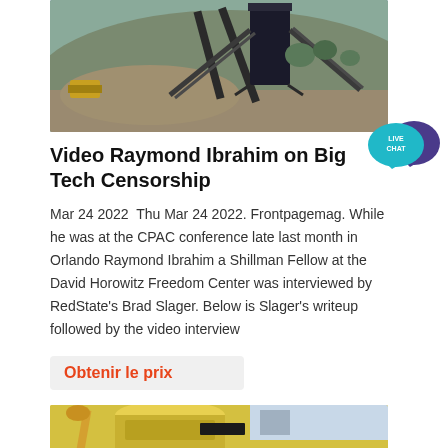[Figure (photo): Industrial mining/quarry equipment with conveyor belt structure against a hillside backdrop]
[Figure (illustration): Live Chat badge icon — teal speech bubble with 'LIVE CHAT' text and purple chat bubble]
Video Raymond Ibrahim on Big Tech Censorship
Mar 24 2022  Thu Mar 24 2022. Frontpagemag. While he was at the CPAC conference late last month in Orlando Raymond Ibrahim a Shillman Fellow at the David Horowitz Freedom Center was interviewed by RedState's Brad Slager. Below is Slager's writeup followed by the video interview
Obtenir le prix
[Figure (photo): Yellow industrial cone crusher or similar heavy mining machinery]